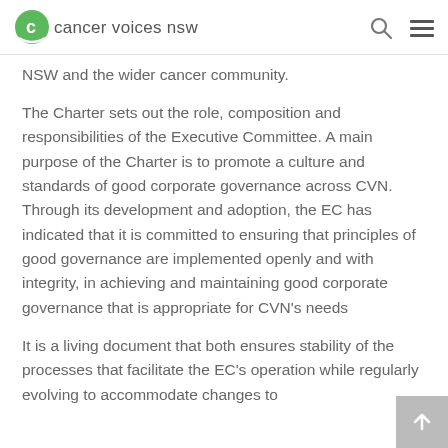cancer voices nsw
NSW and the wider cancer community.
The Charter sets out the role, composition and responsibilities of the Executive Committee. A main purpose of the Charter is to promote a culture and standards of good corporate governance across CVN. Through its development and adoption, the EC has indicated that it is committed to ensuring that principles of good governance are implemented openly and with integrity, in achieving and maintaining good corporate governance that is appropriate for CVN's needs
It is a living document that both ensures stability of the processes that facilitate the EC's operation while regularly evolving to accommodate changes to